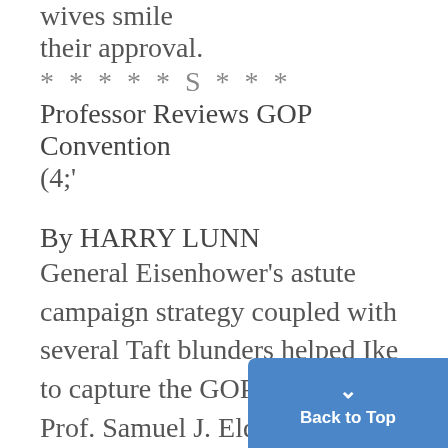wives smile
their approval.
* * * * * S * * *
Professor Reviews GOP Convention
(4;'
By HARRY LUNN
General Eisenhower's astute campaign strategy coupled with several Taft blunders helped Ike to capture the GOP nomination Prof. Samuel J. Eldersveld of th
[Figure (other): Back to Top button — blue rounded button with upward caret and text 'Back to Top']